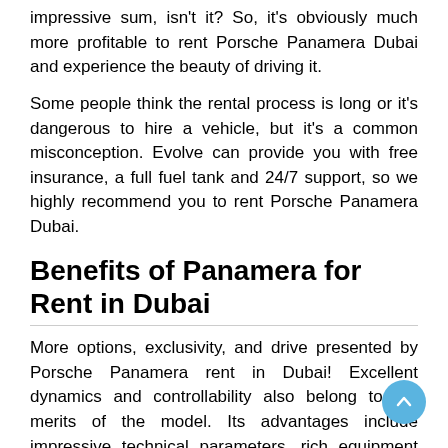impressive sum, isn't it? So, it's obviously much more profitable to rent Porsche Panamera Dubai and experience the beauty of driving it.
Some people think the rental process is long or it's dangerous to hire a vehicle, but it's a common misconception. Evolve can provide you with free insurance, a full fuel tank and 24/7 support, so we highly recommend you to rent Porsche Panamera Dubai.
Benefits of Panamera for Rent in Dubai
More options, exclusivity, and drive presented by Porsche Panamera rent in Dubai! Excellent dynamics and controllability also belong to the merits of the model. Its advantages include impressive technical parameters, rich equipment and a high level of safety, confirmed by regular tests.
The Porsche Panamera has a racing driver's seat, in which the...